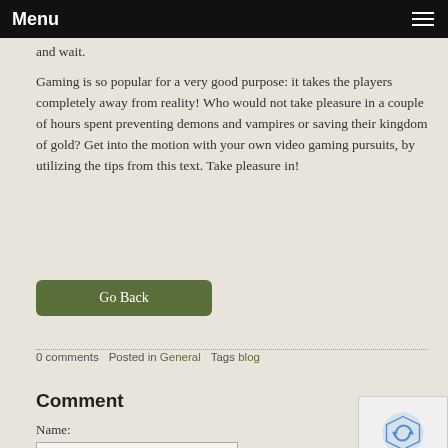Menu
and wait.
Gaming is so popular for a very good purpose: it takes the players completely away from reality! Who would not take pleasure in a couple of hours spent preventing demons and vampires or saving their kingdom of gold? Get into the motion with your own video gaming pursuits, by utilizing the tips from this text. Take pleasure in!
Go Back
0 comments   Posted in General   Tags blog
Comment
Name: